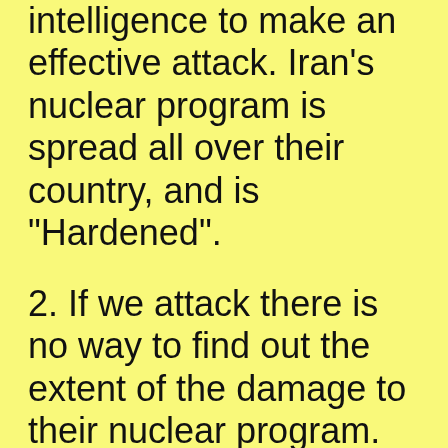intelligence to make an effective attack. Iran's nuclear program is spread all over their country, and is "Hardened".
2. If we attack there is no way to find out the extent of the damage to their nuclear program.
3. If people like you Gina, are